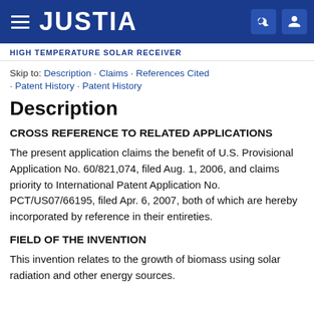JUSTIA
HIGH TEMPERATURE SOLAR RECEIVER
Skip to: Description · Claims · References Cited · Patent History · Patent History
Description
CROSS REFERENCE TO RELATED APPLICATIONS
The present application claims the benefit of U.S. Provisional Application No. 60/821,074, filed Aug. 1, 2006, and claims priority to International Patent Application No. PCT/US07/66195, filed Apr. 6, 2007, both of which are hereby incorporated by reference in their entireties.
FIELD OF THE INVENTION
This invention relates to the growth of biomass using solar radiation and other energy sources.